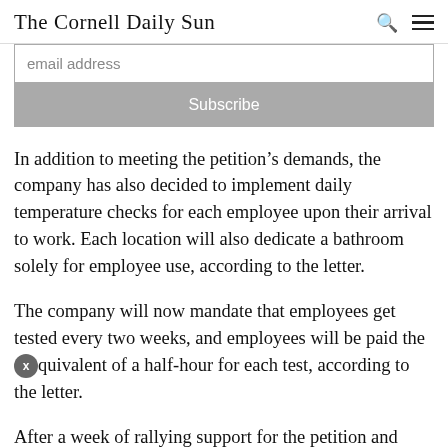The Cornell Daily Sun
email address
Subscribe
In addition to meeting the petition’s demands, the company has also decided to implement daily temperature checks for each employee upon their arrival to work. Each location will also dedicate a bathroom solely for employee use, according to the letter.
The company will now mandate that employees get tested every two weeks, and employees will be paid the equivalent of a half-hour for each test, according to the letter.
After a week of rallying support for the petition and hosting open forums on Zoom, employees were happy to